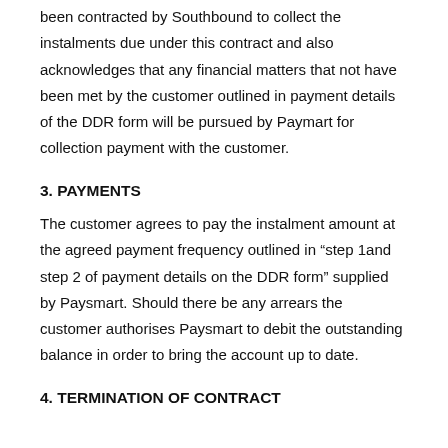been contracted by Southbound to collect the instalments due under this contract and also acknowledges that any financial matters that not have been met by the customer outlined in payment details of the DDR form will be pursued by Paymart for collection payment with the customer.
3. PAYMENTS
The customer agrees to pay the instalment amount at the agreed payment frequency outlined in “step 1and step 2 of payment details on the DDR form” supplied by Paysmart. Should there be any arrears the customer authorises Paysmart to debit the outstanding balance in order to bring the account up to date.
4. TERMINATION OF CONTRACT